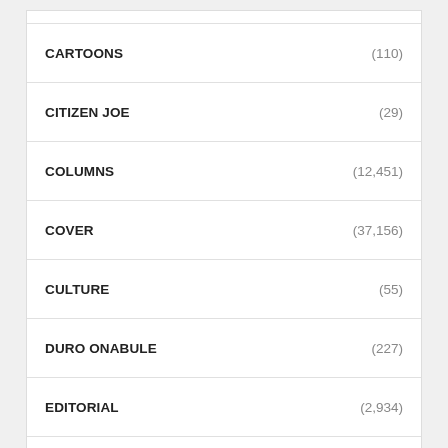CARTOONS (110)
CITIZEN JOE (29)
COLUMNS (12,451)
COVER (37,156)
CULTURE (55)
DURO ONABULE (227)
EDITORIAL (2,934)
EDUCATION REVIEW (3,232)
EFFECT (493)
ELECTIONS (4,651)